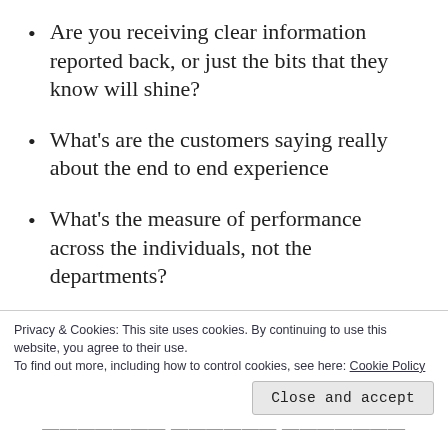Are you receiving clear information reported back, or just the bits that they know will shine?
What’s are the customers saying really about the end to end experience
What’s the measure of performance across the individuals, not the departments?
Are the channel directors empowering their
Privacy & Cookies: This site uses cookies. By continuing to use this website, you agree to their use.
To find out more, including how to control cookies, see here: Cookie Policy
Close and accept
What growing doing already, you available